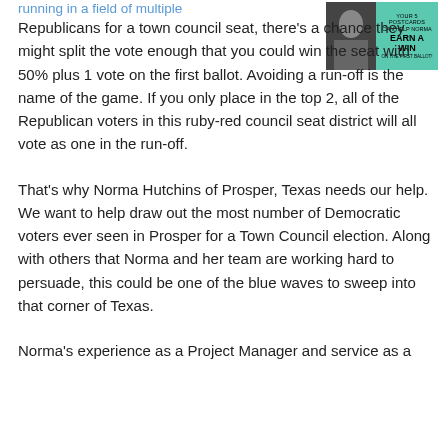running in a field of multiple
[Figure (photo): Advertisement image for Norma with photo and teal box reading: YOUR 5 POSTCARDS CAN HELP NORMA EARN A WIN ON THE FIRST BALLOT!]
Republicans for a town council seat, there's a chance they might split the vote enough that you could win the seat with 50% plus 1 vote on the first ballot. Avoiding a run-off is the name of the game. If you only place in the top 2, all of the Republican voters in this ruby-red council seat district will all vote as one in the run-off.
That's why Norma Hutchins of Prosper, Texas needs our help. We want to help draw out the most number of Democratic voters ever seen in Prosper for a Town Council election. Along with others that Norma and her team are working hard to persuade, this could be one of the blue waves to sweep into that corner of Texas.
Norma's experience as a Project Manager and service as a